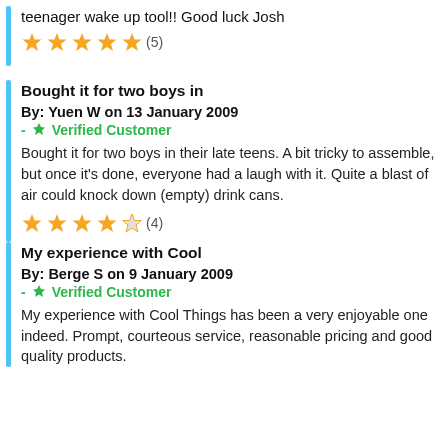teenager wake up tool!! Good luck Josh
★★★★★ (5)
Bought it for two boys in
By: Yuen W on 13 January 2009
- ✦ Verified Customer
Bought it for two boys in their late teens. A bit tricky to assemble, but once it's done, everyone had a laugh with it. Quite a blast of air could knock down (empty) drink cans.
★★★★☆ (4)
My experience with Cool
By: Berge S on 9 January 2009
- ✦ Verified Customer
My experience with Cool Things has been a very enjoyable one indeed. Prompt, courteous service, reasonable pricing and good quality products.